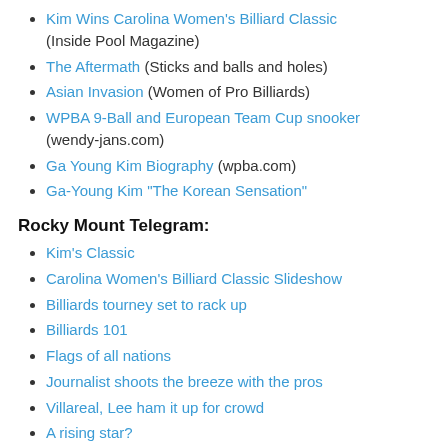Kim Wins Carolina Women's Billiard Classic (Inside Pool Magazine)
The Aftermath (Sticks and balls and holes)
Asian Invasion (Women of Pro Billiards)
WPBA 9-Ball and European Team Cup snooker (wendy-jans.com)
Ga Young Kim Biography (wpba.com)
Ga-Young Kim "The Korean Sensation"
Rocky Mount Telegram:
Kim's Classic
Carolina Women's Billiard Classic Slideshow
Billiards tourney set to rack up
Billiards 101
Flags of all nations
Journalist shoots the breeze with the pros
Villareal, Lee ham it up for crowd
A rising star?